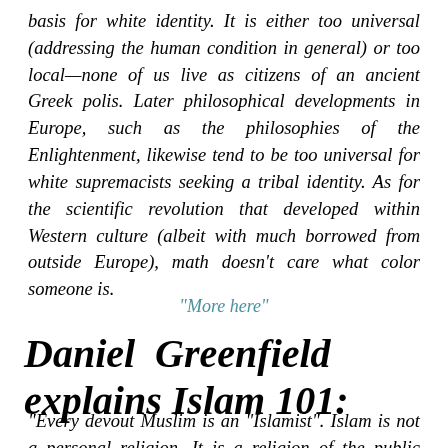basis for white identity. It is either too universal (addressing the human condition in general) or too local—none of us live as citizens of an ancient Greek polis. Later philosophical developments in Europe, such as the philosophies of the Enlightenment, likewise tend to be too universal for white supremacists seeking a tribal identity. As for the scientific revolution that developed within Western culture (albeit with much borrowed from outside Europe), math doesn't care what color someone is.
"More here"
Daniel Greenfield explains Islam 101:
"Every devout Muslim is an "Islamist". Islam is not a personal religion. It is a religion of the public space.